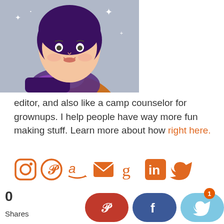[Figure (illustration): Illustrated avatar of a person wearing an orange sweater and purple scarf against a grey background with sparkle elements]
editor, and also like a camp counselor for grownups. I help people have way more fun making stuff. Learn more about how right here.
[Figure (infographic): Row of social media icons in orange: Instagram, Pinterest, Amazon, Email, Goodreads, LinkedIn, Twitter]
0 Shares
[Figure (infographic): Share buttons row: Pinterest (red), Facebook (blue), Twitter (light blue) with notification badge showing 1]